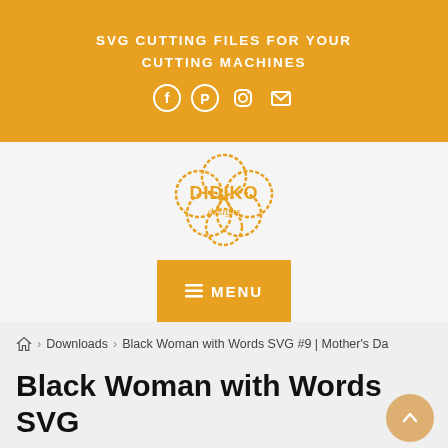SVG CUTTING FILES FOR YOUR CUTTING MACHINES
[Figure (logo): Didiko Designs logo — cloud-shaped badge with 'DIDIKO designs' text in orange]
MENU
Home > Downloads > Black Woman with Words SVG #9 | Mother's Da
Black Woman with Words SVG